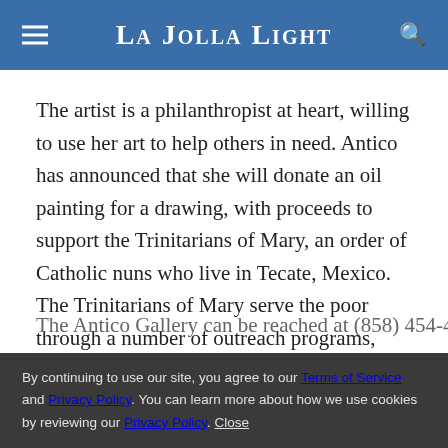La Jolla Light
The artist is a philanthropist at heart, willing to use her art to help others in need. Antico has announced that she will donate an oil painting for a drawing, with proceeds to support the Trinitarians of Mary, an order of Catholic nuns who live in Tecate, Mexico. The Trinitarians of Mary serve the poor through a number of outreach programs, including ministry to the mentally ill, a medical clinic and a girls orphanage.
By continuing to use our site, you agree to our Terms of Service and Privacy Policy. You can learn more about how we use cookies by reviewing our Privacy Policy. Close